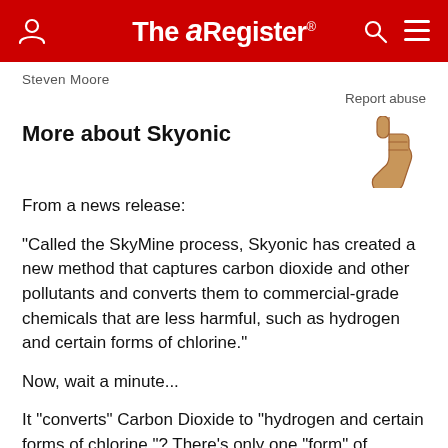The Register
Steven Moore
Report abuse
More about Skyonic
[Figure (illustration): Thumbs down emoji/icon in tan/skin tone color]
From a news release:
"Called the SkyMine process, Skyonic has created a new method that captures carbon dioxide and other pollutants and converts them to commercial-grade chemicals that are less harmful, such as hydrogen and certain forms of chlorine."
Now, wait a minute...
It "converts" Carbon Dioxide to "hydrogen and certain forms of chlorine."? There's only one "form" of chlorine -- unless you're counting isotopes.
And, how does it "convert" them? Do they wheel up a f...